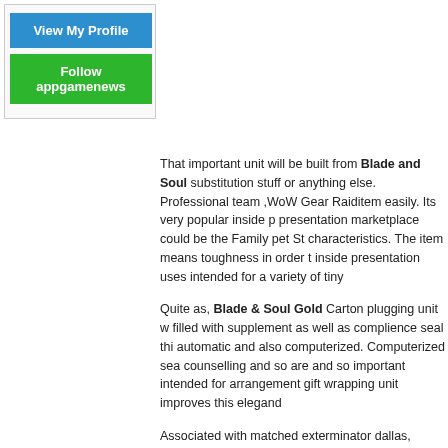[Figure (other): Blue button labeled 'View My Profile' and green button labeled 'Follow appgamenews' inside a sidebar box]
That important unit will be built from Blade and Soul substitution stuff or anything else. Professional team ,WoW Gear Raiditem easily. Its very popular inside p presentation marketplace could be the Family pet St characteristics. The item means toughness in order t inside presentation uses intended for a variety of tiny
Quite as, Blade & Soul Gold Carton plugging unit w filled with supplement as well as complience seal thi automatic and also computerized. Computerized sea counselling and so are and so important intended for arrangement gift wrapping unit improves this elegand
Associated with matched exterminator dallas, Blade explained items safe and sound and also access the between storage space conveniences, you might wa generally there. You will have a place that could be s